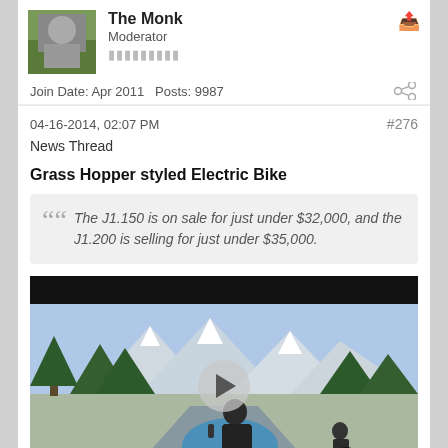The Monk — Moderator
Join Date: Apr 2011   Posts: 9987
04-16-2014, 02:07 PM   #276
News Thread
Grass Hopper styled Electric Bike
The J1.150 is on sale for just under $32,000, and the J1.200 is selling for just under $35,000.
[Figure (photo): Video thumbnail of a blue retro-styled electric motorcycle being ridden on a mountain road in winter, with snow-capped peaks and pine trees in the background. A play button overlay is visible.]